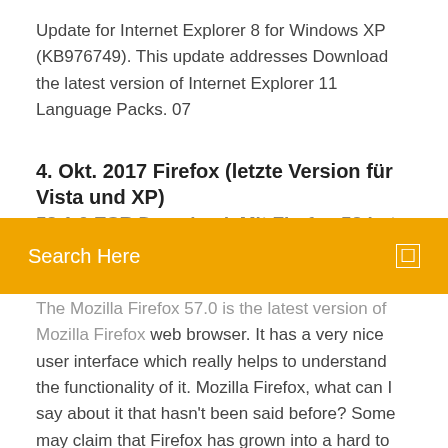Update for Internet Explorer 8 for Windows XP (KB976749). This update addresses Download the latest version of Internet Explorer 11 Language Packs. 07
4. Okt. 2017 Firefox (letzte Version für Vista und XP) 52.1.0 ESR Download. Mit Firefox 52 hat Mozilla d...
Search Here
The Mozilla Firefox 57.0 is the latest version of Mozilla Firefox web browser. It has a very nice user interface which really helps to understand the functionality of it. Mozilla Firefox, what can I say about it that hasn't been said before? Some may claim that Firefox has grown into a hard to tame beast. Others will list al Firefox Nightly is the development (alpha) release channel of Mozilla Firefox . Firefox Nightly gets a new version every few hours. Download software in the Internet category - Page 2 Download Internet Explorer (XP) for Windows PC from FileHorse. 100% Safe and Secure Free Download (32-bit/64-bit)